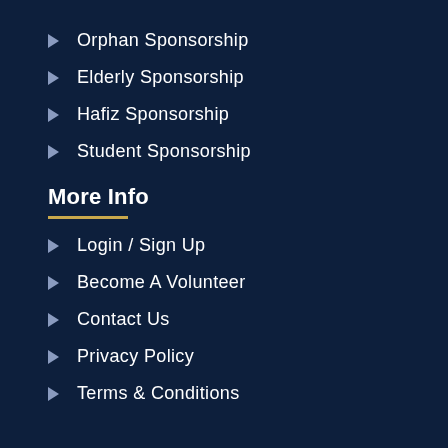Orphan Sponsorship
Elderly Sponsorship
Hafiz Sponsorship
Student Sponsorship
More Info
Login / Sign Up
Become A Volunteer
Contact Us
Privacy Policy
Terms & Conditions